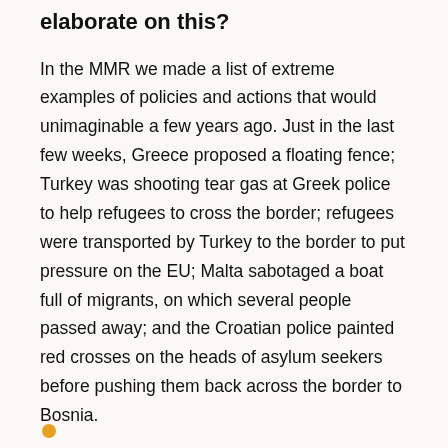elaborate on this?
In the MMR we made a list of extreme examples of policies and actions that would unimaginable a few years ago. Just in the last few weeks, Greece proposed a floating fence; Turkey was shooting tear gas at Greek police to help refugees to cross the border; refugees were transported by Turkey to the border to put pressure on the EU; Malta sabotaged a boat full of migrants, on which several people passed away; and the Croatian police painted red crosses on the heads of asylum seekers before pushing them back across the border to Bosnia.
It is a very big risk that these kind of extreme policies over time are increasingly regarded as normal.